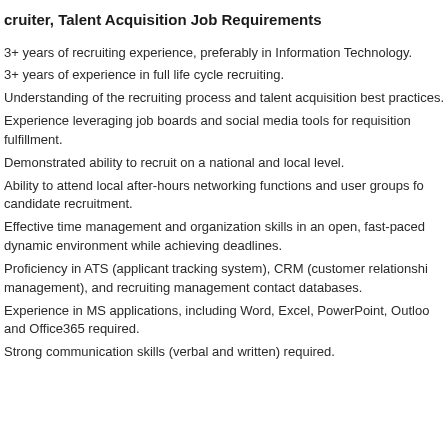cruiter, Talent Acquisition Job Requirements
3+ years of recruiting experience, preferably in Information Technology.
3+ years of experience in full life cycle recruiting.
Understanding of the recruiting process and talent acquisition best practices.
Experience leveraging job boards and social media tools for requisition fulfillment.
Demonstrated ability to recruit on a national and local level.
Ability to attend local after-hours networking functions and user groups for candidate recruitment.
Effective time management and organization skills in an open, fast-paced dynamic environment while achieving deadlines.
Proficiency in ATS (applicant tracking system), CRM (customer relationship management), and recruiting management contact databases.
Experience in MS applications, including Word, Excel, PowerPoint, Outlook and Office365 required.
Strong communication skills (verbal and written) required.